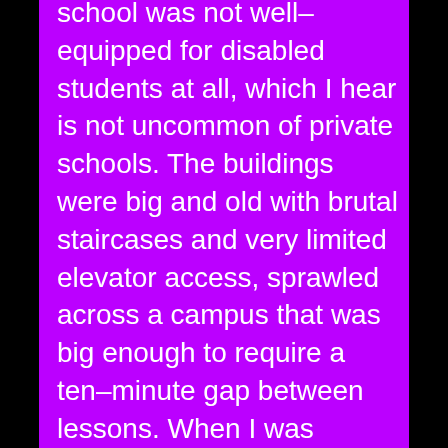school was not well-equipped for disabled students at all, which I hear is not uncommon of private schools. The buildings were big and old with brutal staircases and very limited elevator access, sprawled across a campus that was big enough to require a ten-minute gap between lessons. When I was diagnosed with autism, the school — already dismayed at my self-harm and chaotic energy — was at a loss, and the only autism-specific resource I remember receiving was a set of laminated flashcards from the Autism Outreach Team (which were of no use to